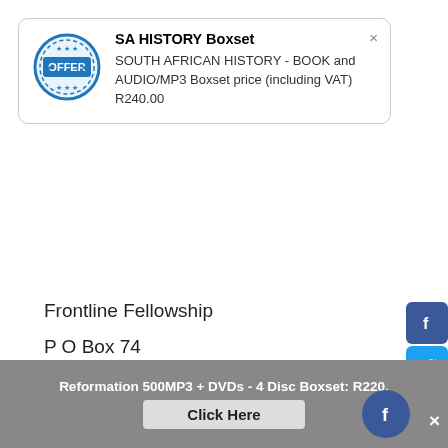[Figure (infographic): Popup notification box with an OFFER badge (circular blue stamp with 'OFFER' text), title 'SA HISTORY Boxset', and description text about South African History book and audio/MP3 boxset price including VAT R240.00. Has a close (×) button.]
Frontline Fellowship
P O Box 74
Newlands 7725
Cape Town, RSA
Tel.: 021-689-4480
Fax: 021-685-5884
admin@frontline.org.za
Reformation 500MP3 + DVDs - 4 Disc Boxset: R220.
Click Here